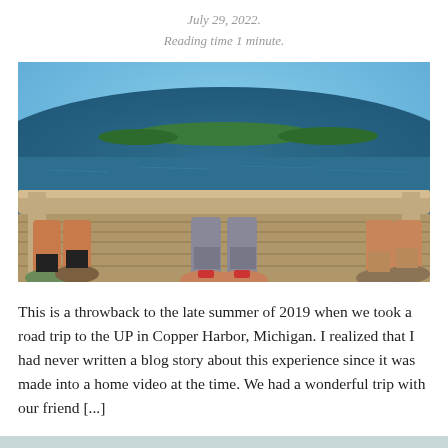July 29, 2022.
Reading time 1 minute.
[Figure (photo): Fish-eye perspective photo of three people sitting on a wooden dock with their legs dangling, wearing hiking shoes, overlooking a blue lake with a tree-lined island in the background under a blue sky.]
This is a throwback to the late summer of 2019 when we took a road trip to the UP in Copper Harbor, Michigan. I realized that I had never written a blog story about this experience since it was made into a home video at the time. We had a wonderful trip with our friend [...]